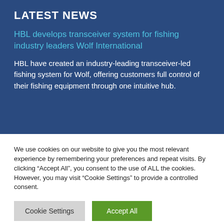LATEST NEWS
HBL develops transceiver system for fishing industry leaders Wolf International
HBL have created an industry-leading transceiver-led fishing system for Wolf, offering customers full control of their fishing equipment through one intuitive hub.
We use cookies on our website to give you the most relevant experience by remembering your preferences and repeat visits. By clicking “Accept All”, you consent to the use of ALL the cookies. However, you may visit "Cookie Settings" to provide a controlled consent.
Cookie Settings | Accept All